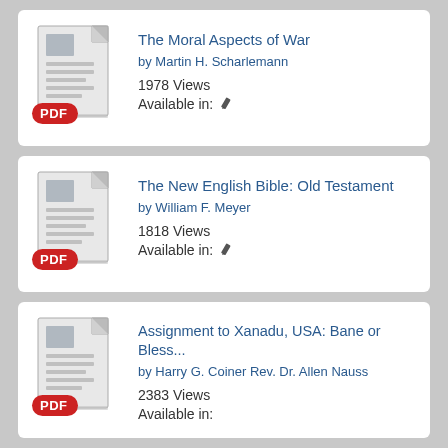[Figure (illustration): PDF document icon with red PDF badge]
The Moral Aspects of War
by Martin H. Scharlemann
1978 Views
Available in: ✏
[Figure (illustration): PDF document icon with red PDF badge]
The New English Bible: Old Testament
by William F. Meyer
1818 Views
Available in: ✏
[Figure (illustration): PDF document icon with red PDF badge]
Assignment to Xanadu, USA: Bane or Bless...
by Harry G. Coiner Rev. Dr. Allen Nauss
2383 Views
Available in: